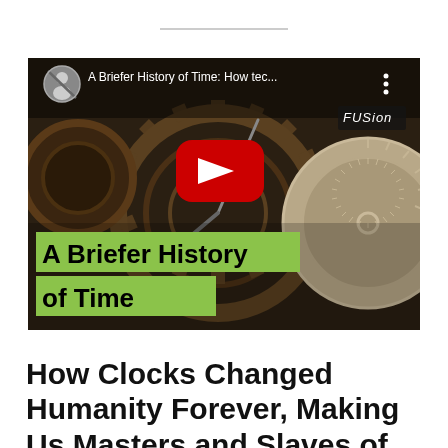[Figure (screenshot): YouTube video thumbnail for 'A Briefer History of Time: How tec...' showing interlocking clock gears in dark background, with YouTube play button, channel avatar, FUSION badge, and green text overlay reading 'A Briefer History of Time']
How Clocks Changed Humanity Forever, Making Us Masters and Slaves of Time